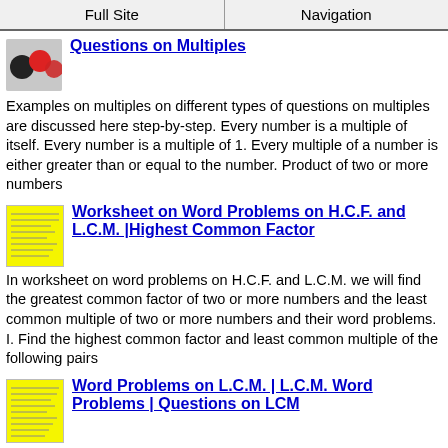Full Site | Navigation
Questions on Multiples
Examples on multiples on different types of questions on multiples are discussed here step-by-step. Every number is a multiple of itself. Every number is a multiple of 1. Every multiple of a number is either greater than or equal to the number. Product of two or more numbers
Worksheet on Word Problems on H.C.F. and L.C.M. |Highest Common Factor
In worksheet on word problems on H.C.F. and L.C.M. we will find the greatest common factor of two or more numbers and the least common multiple of two or more numbers and their word problems. I. Find the highest common factor and least common multiple of the following pairs
Word Problems on L.C.M. | L.C.M. Word Problems | Questions on LCM
Let us consider some of the word problems on l.c.m. (least common multiple). 1. Find the lowest number which is exactly divisible by 18 and 24. We find the L.C.M. of 18 and 24 to get the required number.